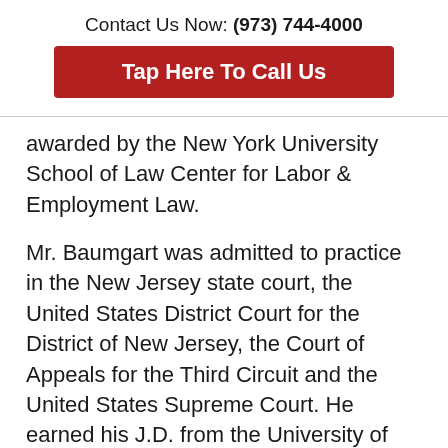Contact Us Now: (973) 744-4000
[Figure (other): Red button with white text reading 'Tap Here To Call Us']
awarded by the New York University School of Law Center for Labor & Employment Law.
Mr. Baumgart was admitted to practice in the New Jersey state court, the United States District Court for the District of New Jersey, the Court of Appeals for the Third Circuit and the United States Supreme Court. He earned his J.D. from the University of Michigan Law School and received a B.A. from the City College of the City University of New York.